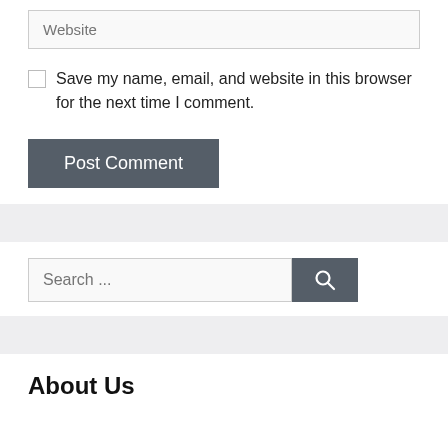Website
Save my name, email, and website in this browser for the next time I comment.
Post Comment
Search ...
About Us